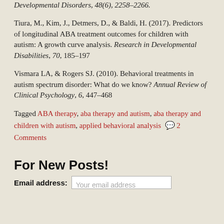Developmental Disorders, 48(6), 2258–2266.
Tiura, M., Kim, J., Detmers, D., & Baldi, H. (2017). Predictors of longitudinal ABA treatment outcomes for children with autism: A growth curve analysis. Research in Developmental Disabilities, 70, 185–197
Vismara LA, & Rogers SJ. (2010). Behavioral treatments in autism spectrum disorder: What do we know? Annual Review of Clinical Psychology, 6, 447–468
Tagged ABA therapy, aba therapy and autism, aba therapy and children with autism, applied behavioral analysis 💬 2 Comments
For New Posts!
Email address: Your email address